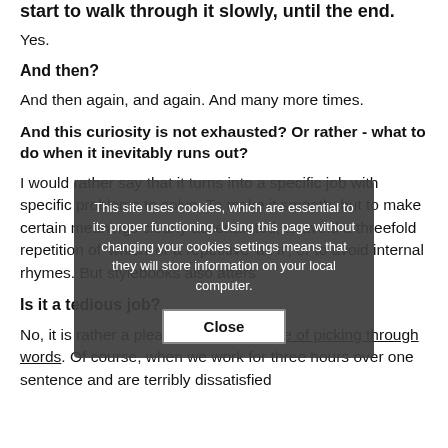start to walk through it slowly, until the end.
Yes.
And then?
And then again, and again. And many more times.
And this curiosity is not exhausted? Or rather - what to do when it inevitably runs out?
I would rather say that it turns into a specific job with specific problems to solve. To make it smooth, but to make certain meanings clearly accentuated, to avoid a threefold repetition of 'which' or a repetitive 'as if', or to avoid internal rhymes. But stylebooks also atters...
Is it a tedious job?
No, it is rather a pleasure. The pleasure of picking through words. Of course, when we work for three hours over one sentence and are terribly dissatisfied